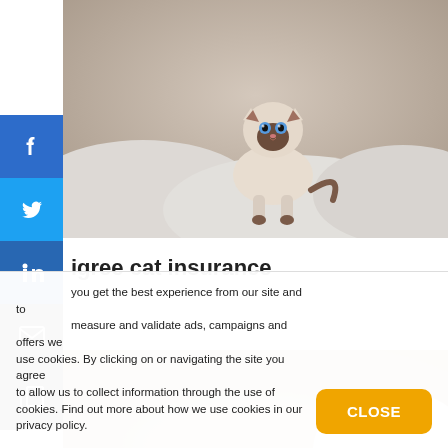[Figure (photo): Siamese kitten with blue eyes sitting on white bedding, looking at camera]
igree cat insurance
[Figure (photo): Tabby cat peeking over a surface with white fluffy material in background]
you get the best experience from our site and to measure and validate ads, campaigns and offers we use cookies. By clicking on or navigating the site you agree to allow us to collect information through the use of cookies. Find out more about how we use cookies in our privacy policy.